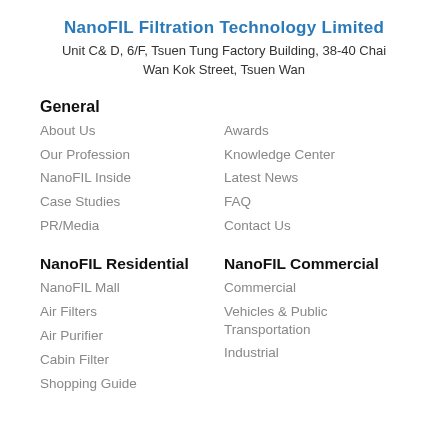NanoFIL Filtration Technology Limited
Unit C& D, 6/F, Tsuen Tung Factory Building, 38-40 Chai Wan Kok Street, Tsuen Wan
General
About Us
Awards
Our Profession
Knowledge Center
NanoFIL Inside
Latest News
Case Studies
FAQ
PR/Media
Contact Us
NanoFIL Residential
NanoFIL Commercial
NanoFIL Mall
Commercial
Air Filters
Vehicles & Public Transportation
Air Purifier
Industrial
Cabin Filter
Shopping Guide